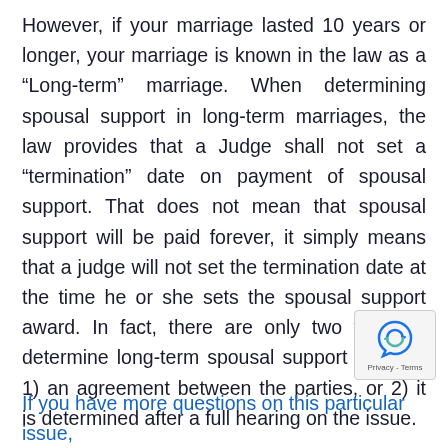However, if your marriage lasted 10 years or longer, your marriage is known in the law as a “Long-term” marriage. When determining spousal support in long-term marriages, the law provides that a Judge shall not set a “termination” date on payment of spousal support. That does not mean that spousal support will be paid forever, it simply means that a judge will not set the termination date at the time he or she sets the spousal support award. In fact, there are only two ways to determine long-term spousal support amount, 1) an agreement between the parties, or 2) it is determined after a full hearing on the issue.
If you have more questions on this particular issue,